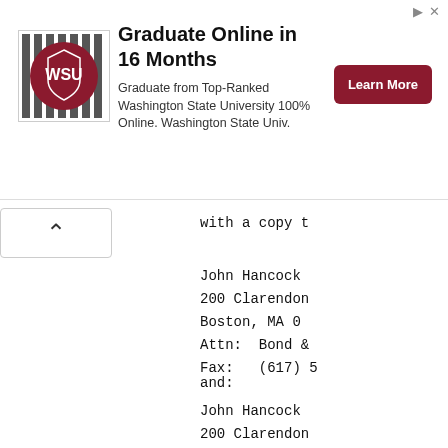[Figure (infographic): Advertisement banner for Washington State University online program. WSU logo on left, headline 'Graduate Online in 16 Months', body text 'Graduate from Top-Ranked Washington State University 100% Online. Washington State Univ.', red 'Learn More' button on right.]
with a copy t
John Hancock
200 Clarendon
Boston, MA 0
Attn: Bond &
Fax: (617) 5
and:
John Hancock
200 Clarendon
Boston, MA 0
Attn: Invest
Fax: (617) 5